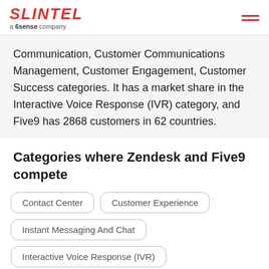SLINTEL a 6sense company
Communication, Customer Communications Management, Customer Engagement, Customer Success categories. It has a market share in the Interactive Voice Response (IVR) category, and Five9 has 2868 customers in 62 countries.
Categories where Zendesk and Five9 compete
Contact Center
Customer Experience
Instant Messaging And Chat
Interactive Voice Response (IVR)